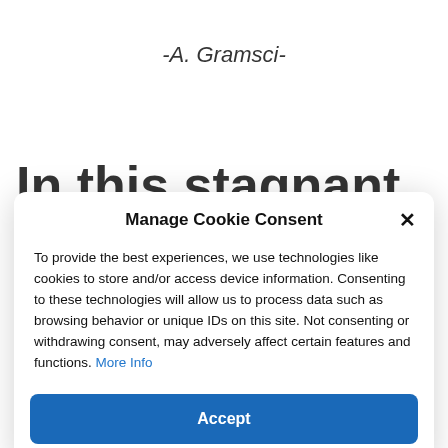-A. Gramsci-
In this stagnant
Manage Cookie Consent
To provide the best experiences, we use technologies like cookies to store and/or access device information. Consenting to these technologies will allow us to process data such as browsing behavior or unique IDs on this site. Not consenting or withdrawing consent, may adversely affect certain features and functions. More Info
Accept